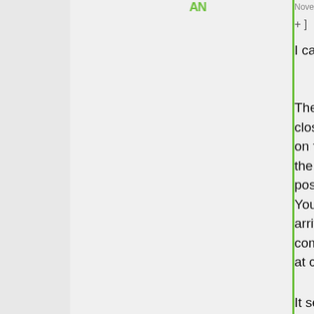November 11, 2018 at 8:30 am
+ ] 761 comments since 1970-01-01 00:0
I can see how there's no good reason that's relevant this moment.
The best counterargument I can come up with is that once you open a border, closing it may not be easy. There's no guarantee Canada and the U.S. will remain on friendly terms forever or that the biggest security hole will be the southern border of the U.S. It's hard to see how that would change in the next few decades but it's possible. Or some terrible pandemic occurs and starts spreading through Canada. You're going to want to lock the border down tight and quarantine any recently arrived Canadians, and that's going to be harder if you've let people move completely freely back and forth for decades and stopped checking who is crossing at checkpoints.
It seems farfetched, but I also don't think the border between the U.S. and Canada is causing much...